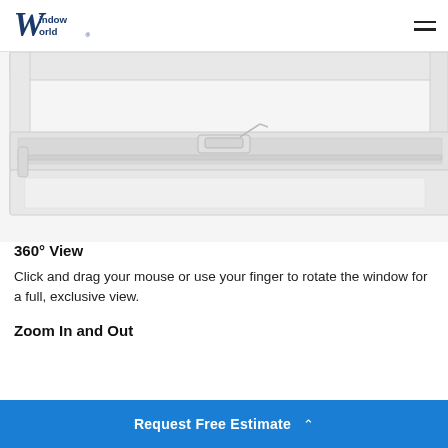Window World
[Figure (photo): Close-up photo of a white vinyl window frame from an angled perspective, showing the sash rail, latch hardware, and frame profiles against a white background.]
360° View
Click and drag your mouse or use your finger to rotate the window for a full, exclusive view.
Zoom In and Out
Request Free Estimate ^